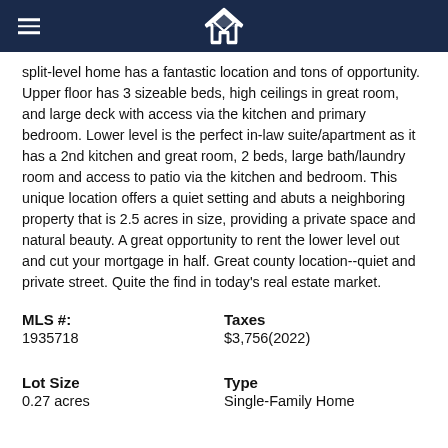[Logo and navigation bar]
split-level home has a fantastic location and tons of opportunity. Upper floor has 3 sizeable beds, high ceilings in great room, and large deck with access via the kitchen and primary bedroom. Lower level is the perfect in-law suite/apartment as it has a 2nd kitchen and great room, 2 beds, large bath/laundry room and access to patio via the kitchen and bedroom. This unique location offers a quiet setting and abuts a neighboring property that is 2.5 acres in size, providing a private space and natural beauty. A great opportunity to rent the lower level out and cut your mortgage in half. Great county location--quiet and private street. Quite the find in today's real estate market.
| MLS #: | Taxes |
| 1935718 | $3,756(2022) |
| Lot Size | Type |
| 0.27 acres | Single-Family Home |